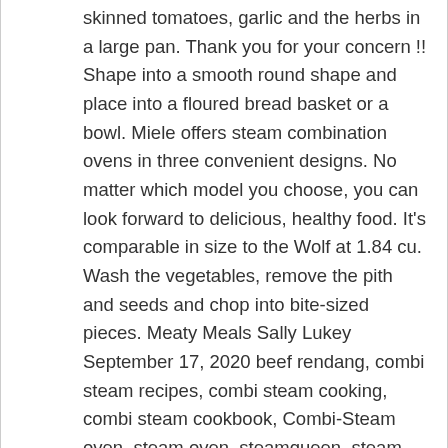skinned tomatoes, garlic and the herbs in a large pan. Thank you for your concern !! Shape into a smooth round shape and place into a floured bread basket or a bowl. Miele offers steam combination ovens in three convenient designs. No matter which model you choose, you can look forward to delicious, healthy food. It’s comparable in size to the Wolf at 1.84 cu. Wash the vegetables, remove the pith and seeds and chop into bite-sized pieces. Meaty Meals Sally Lukey September 17, 2020 beef rendang, combi steam recipes, combi steam cooking, combi steam cookbook, Combi-Steam oven, steam oven, steamqueen, steam oven recipes, Miele… Steam oven accessories | Miele | Find the right product in our product overview Miele Steam Ovens are supplied with a variety of accessories. This is a different method to what bread bakers recommend.